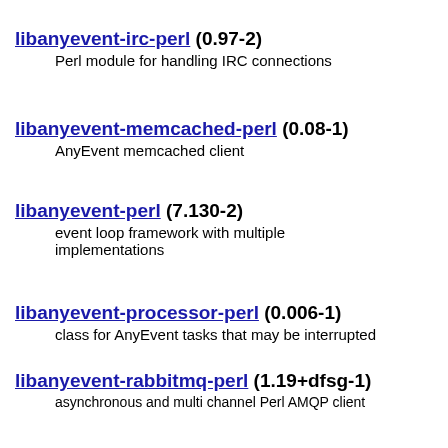libanyevent-irc-perl (0.97-2)
Perl module for handling IRC connections
libanyevent-memcached-perl (0.08-1)
AnyEvent memcached client
libanyevent-perl (7.130-2)
event loop framework with multiple implementations
libanyevent-processor-perl (0.006-1)
class for AnyEvent tasks that may be interrupted
libanyevent-rabbitmq-perl (1.19+dfsg-1)
asynchronous and multi channel Perl AMQP client
libanyevent-redis-perl (0.24-2)
Perl module that implements a non-blocking Redis